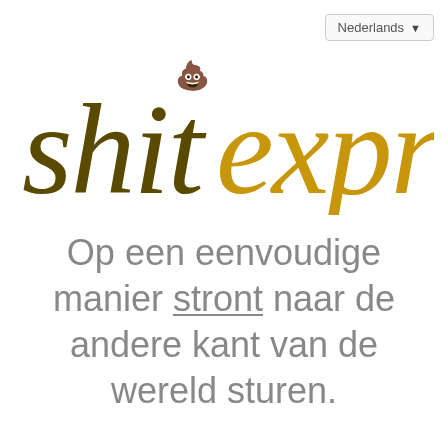[Figure (logo): shitexpress logo — 'shit' in dark olive/brown serif italic, 'express' in golden/amber serif italic, with a small poop emoji above the letter 't']
Nederlands ▼
Op een eenvoudige manier stront naar de andere kant van de wereld sturen.